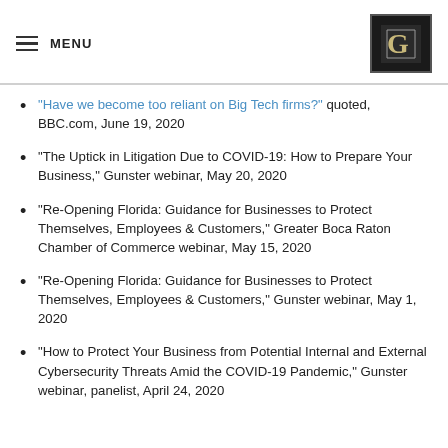MENU
“Have we become too reliant on Big Tech firms?” quoted, BBC.com, June 19, 2020
“The Uptick in Litigation Due to COVID-19: How to Prepare Your Business,” Gunster webinar, May 20, 2020
“Re-Opening Florida: Guidance for Businesses to Protect Themselves, Employees & Customers,” Greater Boca Raton Chamber of Commerce webinar, May 15, 2020
“Re-Opening Florida: Guidance for Businesses to Protect Themselves, Employees & Customers,” Gunster webinar, May 1, 2020
“How to Protect Your Business from Potential Internal and External Cybersecurity Threats Amid the COVID-19 Pandemic,” Gunster webinar, panelist, April 24, 2020